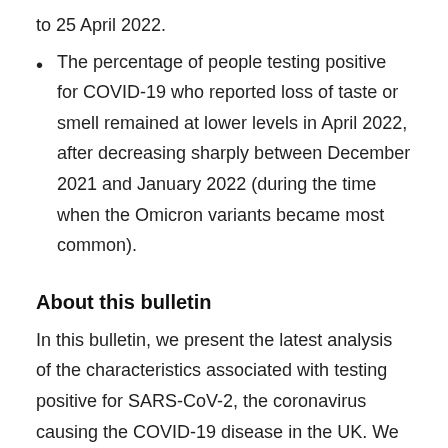to 25 April 2022.
The percentage of people testing positive for COVID-19 who reported loss of taste or smell remained at lower levels in April 2022, after decreasing sharply between December 2021 and January 2022 (during the time when the Omicron variants became most common).
About this bulletin
In this bulletin, we present the latest analysis of the characteristics associated with testing positive for SARS-CoV-2, the coronavirus causing the COVID-19 disease in the UK. We also present analysis on re-